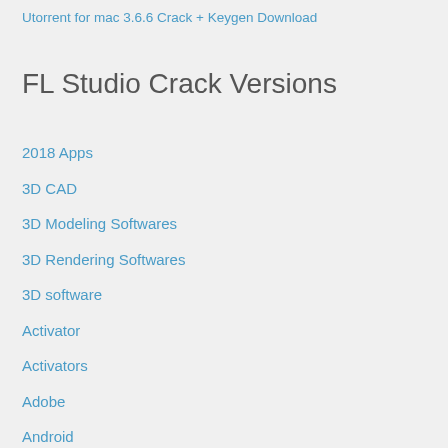Utorrent for mac 3.6.6 Crack + Keygen Download
FL Studio Crack Versions
2018 Apps
3D CAD
3D Modeling Softwares
3D Rendering Softwares
3D software
Activator
Activators
Adobe
Android
Anti-Malware
Anti-Rootkits & Exploit Tools